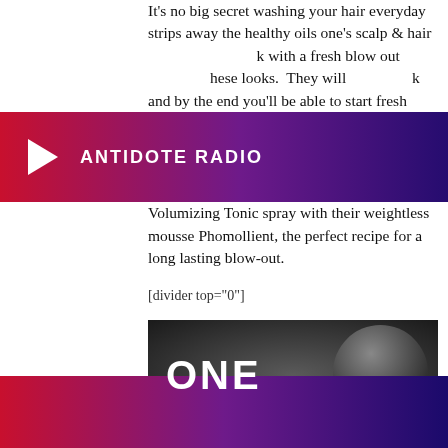It's no big secret washing your hair everyday strips away the healthy oils one's scalp & hair ... k with a fresh blow out ... hese looks. They will ... k and by the end you'll be able to start fresh again without whipping away all those healthy oils. For a strong blow-out make sure to use a good prep in your hair before drying – I love combining Aveda's Volumizing Tonic spray with their weightless mousse Phomollient, the perfect recipe for a long lasting blow-out.
[Figure (screenshot): Antidote Radio banner overlay with gradient background (red to purple to dark blue), a white play triangle icon on the left and 'ANTIDOTE RADIO' text in white bold uppercase letters.]
[divider top="0"]
[Figure (photo): Dark background image showing the word 'ONE' in white text on the left, and a circular crop of a person's hair (dark, sleek, center-parted) on the right.]